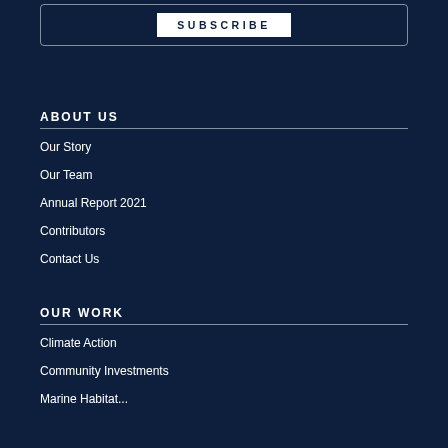SUBSCRIBE
ABOUT US
Our Story
Our Team
Annual Report 2021
Contributors
Contact Us
OUR WORK
Climate Action
Community Investments
Marine Habitat...